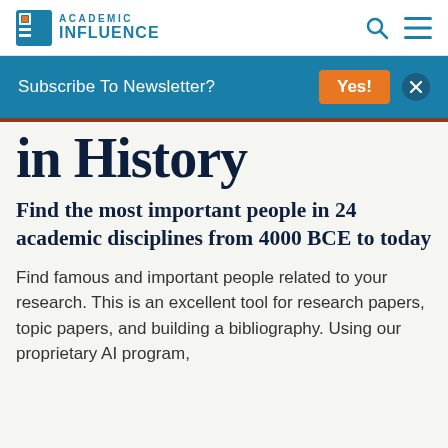ACADEMIC INFLUENCE
Subscribe To Newsletter? Yes!
in History
Find the most important people in 24 academic disciplines from 4000 BCE to today
Find famous and important people related to your research. This is an excellent tool for research papers, topic papers, and building a bibliography. Using our proprietary AI program,